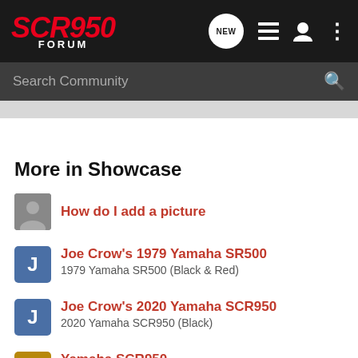SCR950 FORUM
Search Community
More in Showcase
How do I add a picture
Joe Crow's 1979 Yamaha SR500
1979 Yamaha SR500 (Black & Red)
Joe Crow's 2020 Yamaha SCR950
2020 Yamaha SCR950 (Black)
Yamaha SCR950
2017 Yamaha SCR950 (Red)